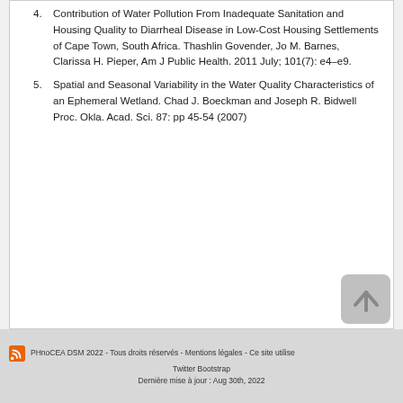4. Contribution of Water Pollution From Inadequate Sanitation and Housing Quality to Diarrheal Disease in Low-Cost Housing Settlements of Cape Town, South Africa. Thashlin Govender, Jo M. Barnes, Clarissa H. Pieper, Am J Public Health. 2011 July; 101(7): e4–e9.
5. Spatial and Seasonal Variability in the Water Quality Characteristics of an Ephemeral Wetland. Chad J. Boeckman and Joseph R. Bidwell Proc. Okla. Acad. Sci. 87: pp 45-54 (2007)
PHnoCEA DSM 2022 - Tous droits réservés - Mentions légales - Ce site utilise Twitter Bootstrap Dernière mise à jour : Aug 30th, 2022